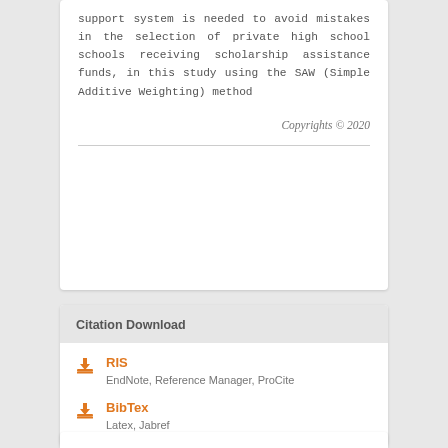support system is needed to avoid mistakes in the selection of private high school schools receiving scholarship assistance funds, in this study using the SAW (Simple Additive Weighting) method
Copyrights © 2020
Citation Download
RIS – EndNote, Reference Manager, ProCite
BibTex – Latex, Jabref